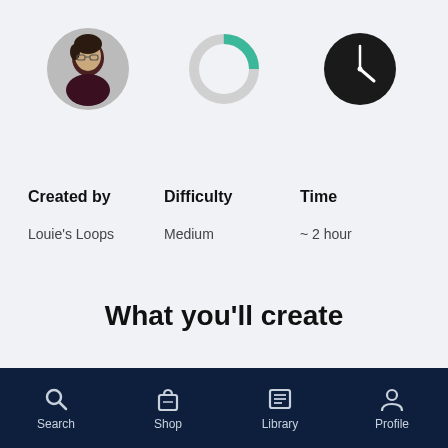[Figure (photo): Circular avatar photo of a person (Louie's Loops creator)]
[Figure (donut-chart): Partial donut/ring chart in teal and gray indicating medium difficulty level]
[Figure (illustration): Clock icon showing approximately 4 o'clock, indicating time (~2 hour)]
Created by
Difficulty
Time
Louie's Loops
Medium
~ 2 hour
What you'll create
Search  Shop  Library  Profile